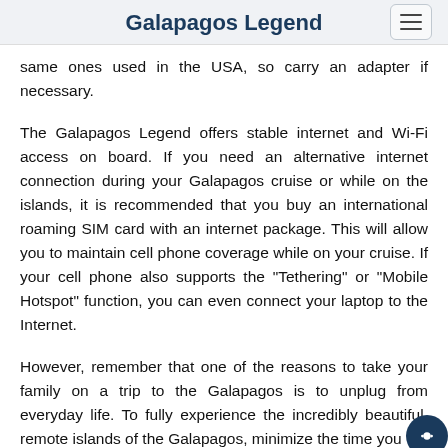Galapagos Legend
same ones used in the USA, so carry an adapter if necessary.
The Galapagos Legend offers stable internet and Wi-Fi access on board. If you need an alternative internet connection during your Galapagos cruise or while on the islands, it is recommended that you buy an international roaming SIM card with an internet package. This will allow you to maintain cell phone coverage while on your cruise. If your cell phone also supports the "Tethering" or "Mobile Hotspot" function, you can even connect your laptop to the Internet.
However, remember that one of the reasons to take your family on a trip to the Galapagos is to unplug from everyday life. To fully experience the incredibly beautiful, remote islands of the Galapagos, minimize the time you spend on it on your trip.